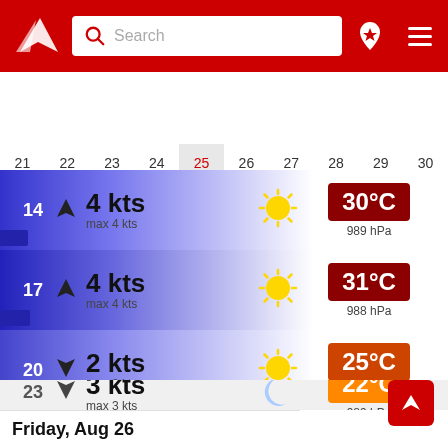[Figure (screenshot): Red navigation header with white logo (windsock/arrow), search bar, pin icon, and hamburger menu]
[Figure (infographic): Horizontal date/calendar strip showing days 21-30, with 25 highlighted in red and gray]
[Figure (infographic): Wind chart strip with blue wave line, showing max 1 kts and 991 hPa]
[Figure (infographic): Weather row for 14h: 4 kts, max 4 kts, sunny, 30°C, 989 hPa]
[Figure (infographic): Weather row for 17h: 4 kts, max 4 kts, sunny, 31°C, 988 hPa]
[Figure (infographic): Weather row for 20h: 2 kts, max 2 kts, sunny, 25°C, 988 hPa]
[Figure (infographic): Weather row for 23h: 3 kts, max 3 kts, moon/night, 22°C, 989 hPa]
Friday, Aug 26